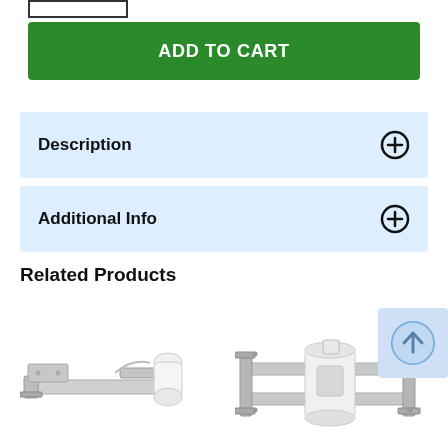[Figure (screenshot): Small rectangular input/quantity box at top left of product page]
ADD TO CART
Description
Additional Info
Related Products
[Figure (photo): Product photo: a lighting fixture remodel housing with adjustable bar and white socket, shown from side angle]
[Figure (photo): Product photo: a recessed lighting new construction housing frame with mounting brackets and socket, viewed from above]